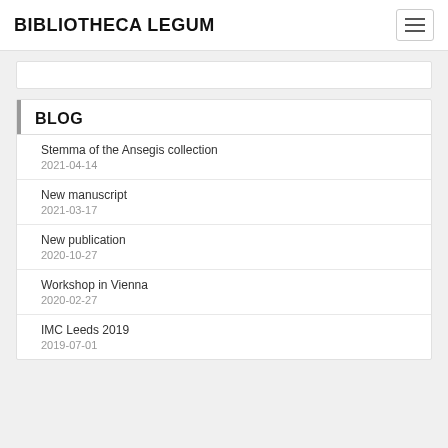BIBLIOTHECA LEGUM
BLOG
Stemma of the Ansegis collection
2021-04-14
New manuscript
2021-03-17
New publication
2020-10-27
Workshop in Vienna
2020-02-27
IMC Leeds 2019
2019-07-01